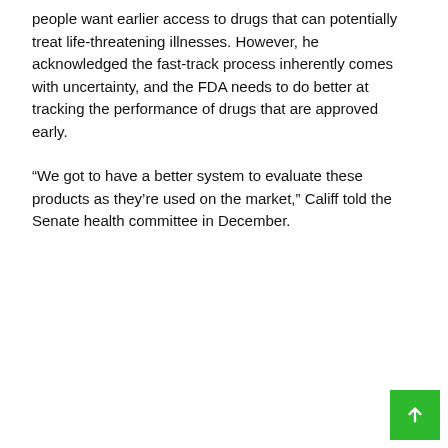people want earlier access to drugs that can potentially treat life-threatening illnesses. However, he acknowledged the fast-track process inherently comes with uncertainty, and the FDA needs to do better at tracking the performance of drugs that are approved early.
“We got to have a better system to evaluate these products as they’re used on the market,” Califf told the Senate health committee in December.